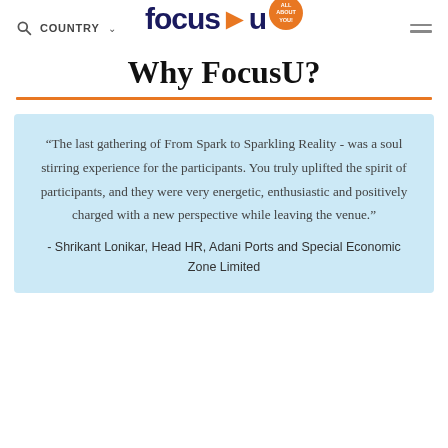COUNTRY  focus▶u  ALL ABOUT YOU
Why FocusU?
“The last gathering of From Spark to Sparkling Reality - was a soul stirring experience for the participants. You truly uplifted the spirit of participants, and they were very energetic, enthusiastic and positively charged with a new perspective while leaving the venue.” - Shrikant Lonikar, Head HR, Adani Ports and Special Economic Zone Limited